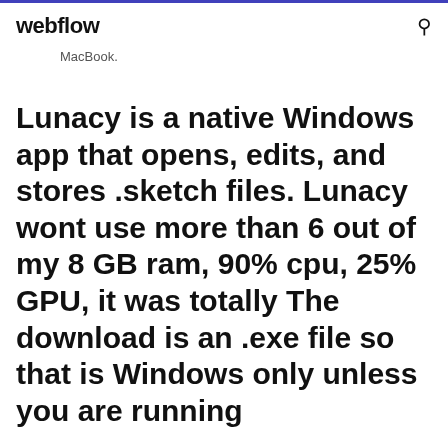webflow
MacBook.
Lunacy is a native Windows app that opens, edits, and stores .sketch files. Lunacy wont use more than 6 out of my 8 GB ram, 90% cpu, 25% GPU, it was totally The download is an .exe file so that is Windows only unless you are running
Press the Windows + r keys on your keyboard to open the Run window. After downloading the